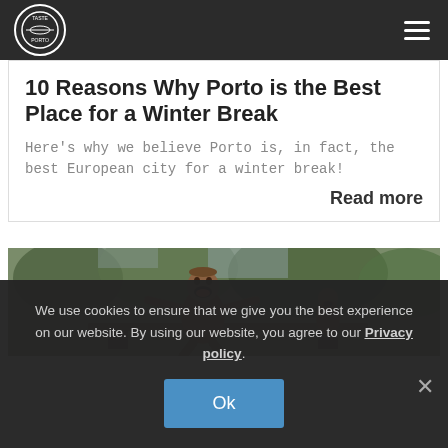Taste Porto – navigation header with logo and hamburger menu
10 Reasons Why Porto is the Best Place for a Winter Break
Here's why we believe Porto is, in fact, the best European city for a winter break!
Read more
[Figure (photo): Bronze statue of a person seated and laughing, with trees in background]
We use cookies to ensure that we give you the best experience on our website. By using our website, you agree to our Privacy policy.
Ok